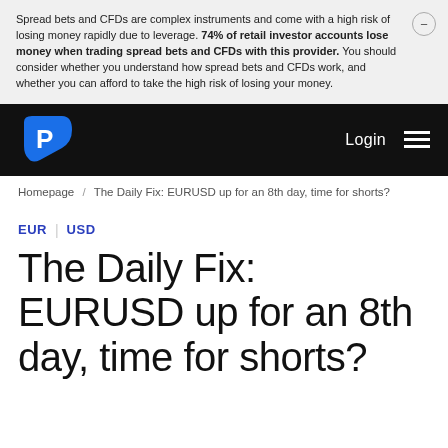Spread bets and CFDs are complex instruments and come with a high risk of losing money rapidly due to leverage. 74% of retail investor accounts lose money when trading spread bets and CFDs with this provider. You should consider whether you understand how spread bets and CFDs work, and whether you can afford to take the high risk of losing your money.
[Figure (logo): Pepperstone logo — white letter P in a blue rounded-triangle shape on black navbar background, with Login text and hamburger menu on the right]
Homepage / The Daily Fix: EURUSD up for an 8th day, time for shorts?
EUR | USD
The Daily Fix: EURUSD up for an 8th day, time for shorts?